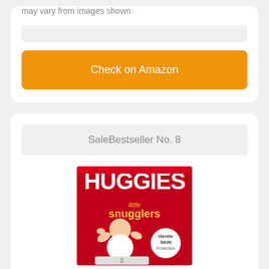may vary from images shown
[Figure (other): Gray placeholder bar]
[Figure (other): Orange Check on Amazon button]
SaleBestseller No. 8
[Figure (photo): Huggies Little Snugglers diaper box with baby image, red packaging with white text reading HUGGIES little snugglers, Gentle SKIN Protection badge]